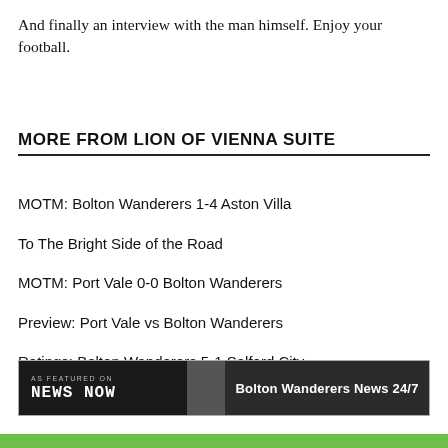And finally an interview with the man himself. Enjoy your football.
MORE FROM LION OF VIENNA SUITE
MOTM: Bolton Wanderers 1-4 Aston Villa
To The Bright Side of the Road
MOTM: Port Vale 0-0 Bolton Wanderers
Preview: Port Vale vs Bolton Wanderers
Ratings: Bolton Wanderers 5-1 Salford City
MOTM: Bolton Wanderers 3-0 Wycombe Wanderers
[Figure (logo): News Now banner — AS FEATURED ON / NEWS NOW logo on dark background with Bolton Wanderers News 24/7 text]